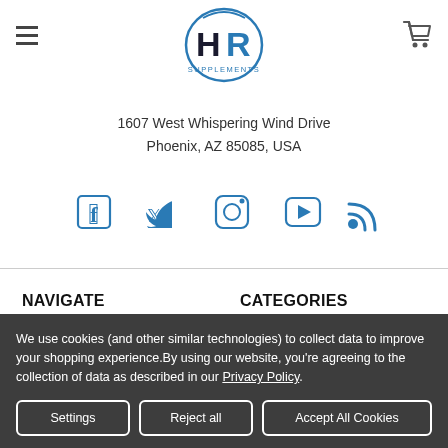HR Supplements logo, hamburger menu, cart icon
1607 West Whispering Wind Drive
Phoenix, AZ 85085, USA
[Figure (infographic): Social media icons: Facebook, Twitter, Instagram, YouTube, RSS]
NAVIGATE
Manager Special
CATEGORIES
Shop All
We use cookies (and other similar technologies) to collect data to improve your shopping experience.By using our website, you're agreeing to the collection of data as described in our Privacy Policy.
Settings | Reject all | Accept All Cookies